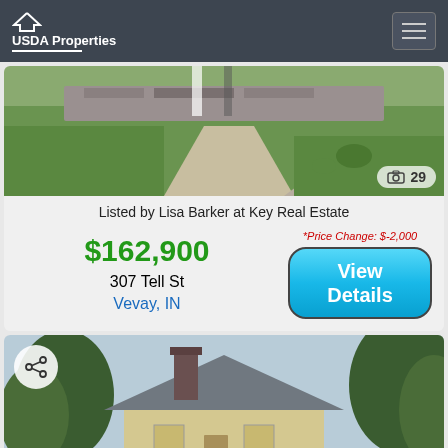USDA Properties
[Figure (photo): Exterior photo of property showing lawn and landscaping with stone/brick wall]
Listed by Lisa Barker at Key Real Estate
$162,900
307 Tell St
Vevay, IN
*Price Change: $-2,000
View Details
[Figure (photo): Exterior photo of a house with chimney and trees]